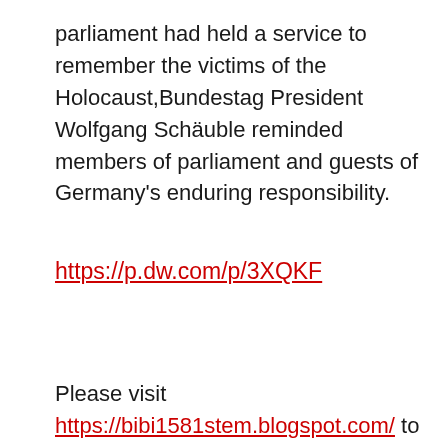parliament had held a service to remember the victims of the Holocaust,Bundestag President Wolfgang Schäuble reminded members of parliament and guests of Germany's enduring responsibility.
https://p.dw.com/p/3XQKF
Please visit https://bibi1581stem.blogspot.com/ to read Bibi1581 historic blogs